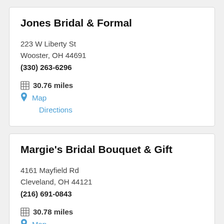Jones Bridal & Formal
223 W Liberty St
Wooster, OH 44691
(330) 263-6296
30.76 miles
Map
Directions
Margie's Bridal Bouquet & Gift
4161 Mayfield Rd
Cleveland, OH 44121
(216) 691-0843
30.78 miles
Map